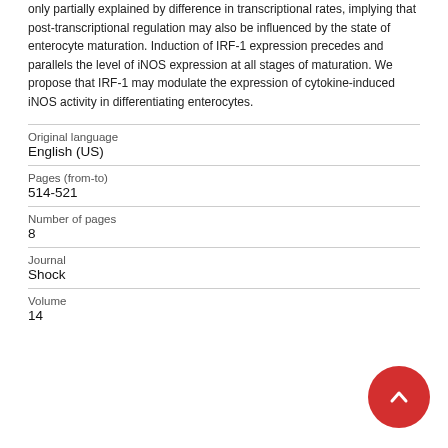only partially explained by difference in transcriptional rates, implying that post-transcriptional regulation may also be influenced by the state of enterocyte maturation. Induction of IRF-1 expression precedes and parallels the level of iNOS expression at all stages of maturation. We propose that IRF-1 may modulate the expression of cytokine-induced iNOS activity in differentiating enterocytes.
| Original language | English (US) |
| Pages (from-to) | 514-521 |
| Number of pages | 8 |
| Journal | Shock |
| Volume | 14 |